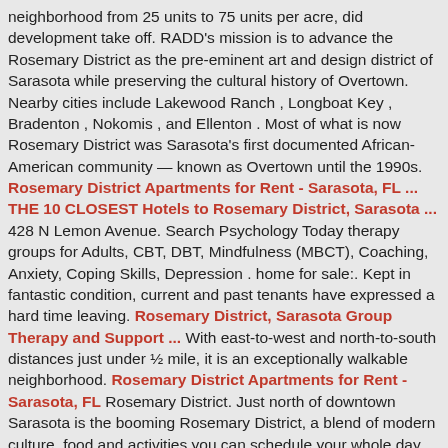neighborhood from 25 units to 75 units per acre, did development take off. RADD's mission is to advance the Rosemary District as the pre-eminent art and design district of Sarasota while preserving the cultural history of Overtown. Nearby cities include Lakewood Ranch , Longboat Key , Bradenton , Nokomis , and Ellenton . Most of what is now Rosemary District was Sarasota's first documented African-American community — known as Overtown until the 1990s. Rosemary District Apartments for Rent - Sarasota, FL ... THE 10 CLOSEST Hotels to Rosemary District, Sarasota ... 428 N Lemon Avenue. Search Psychology Today therapy groups for Adults, CBT, DBT, Mindfulness (MBCT), Coaching, Anxiety, Coping Skills, Depression . home for sale:. Kept in fantastic condition, current and past tenants have expressed a hard time leaving. Rosemary District, Sarasota Group Therapy and Support ... With east-to-west and north-to-south distances just under ½ mile, it is an exceptionally walkable neighborhood. Rosemary District Apartments for Rent - Sarasota, FL Rosemary District. Just north of downtown Sarasota is the booming Rosemary District, a blend of modern culture, food and activities you can schedule your whole day around. 1558 4th St #402, Sarasota, FL 34236. Rosemary District. This home of 3,312 Sq.Ft.